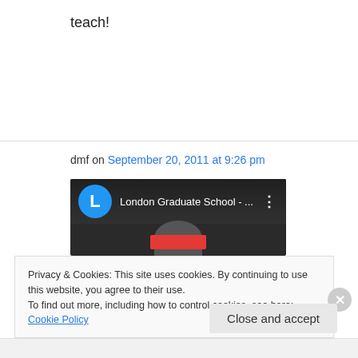teach!
dmf on September 20, 2011 at 9:26 pm
[Figure (screenshot): YouTube-style video thumbnail showing London Graduate School channel with blue circle avatar with letter L, channel name 'London Graduate School - ...' and three-dot menu icon, with a person silhouette below]
Privacy & Cookies: This site uses cookies. By continuing to use this website, you agree to their use.
To find out more, including how to control cookies, see here: Cookie Policy
Close and accept